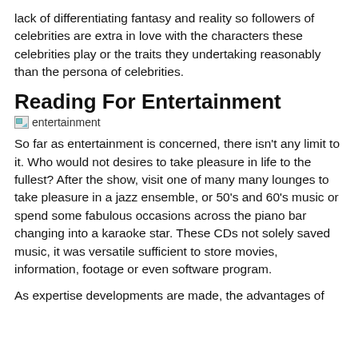lack of differentiating fantasy and reality so followers of celebrities are extra in love with the characters these celebrities play or the traits they undertaking reasonably than the persona of celebrities.
Reading For Entertainment
[Figure (other): Broken image placeholder with alt text 'entertainment']
So far as entertainment is concerned, there isn't any limit to it. Who would not desires to take pleasure in life to the fullest? After the show, visit one of many many lounges to take pleasure in a jazz ensemble, or 50's and 60's music or spend some fabulous occasions across the piano bar changing into a karaoke star. These CDs not solely saved music, it was versatile sufficient to store movies, information, footage or even software program.
As expertise developments are made, the advantages of